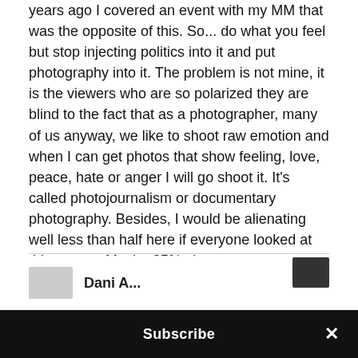years ago I covered an event with my MM that was the opposite of this. So... do what you feel but stop injecting politics into it and put photography into it. The problem is not mine, it is the viewers who are so polarized they are blind to the fact that as a photographer, many of us anyway, we like to shoot raw emotion and when I can get photos that show feeling, love, peace, hate or anger I will go shoot it. It's called photojournalism or documentary photography. Besides, I would be alienating well less than half here if everyone looked at this as you. Maybe 35% ; )
↩ REPLY
Subscribe ×